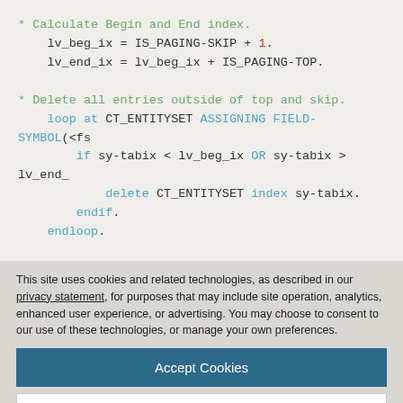* Calculate Begin and End index.
  lv_beg_ix = IS_PAGING-SKIP + 1.
  lv_end_ix = lv_beg_ix + IS_PAGING-TOP.

* Delete all entries outside of top and skip.
  loop at CT_ENTITYSET ASSIGNING FIELD-SYMBOL(<fs
    if sy-tabix < lv_beg_ix OR sy-tabix > lv_end_
      delete CT_ENTITYSET index sy-tabix.
    endif.
  endloop.
This site uses cookies and related technologies, as described in our privacy statement, for purposes that may include site operation, analytics, enhanced user experience, or advertising. You may choose to consent to our use of these technologies, or manage your own preferences.
Accept Cookies
More Information
Privacy Policy | Powered by: TrustArc